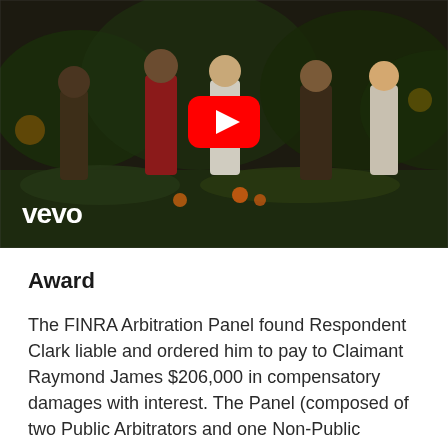[Figure (screenshot): YouTube video thumbnail showing a music video scene with people standing outdoors at night with garden background. A red YouTube play button is centered. The Vevo logo appears in white at bottom-left.]
Award
The FINRA Arbitration Panel found Respondent Clark liable and ordered him to pay to Claimant Raymond James $206,000 in compensatory damages with interest. The Panel (composed of two Public Arbitrators and one Non-Public Arbitrator) issued this "Findings of Fact":